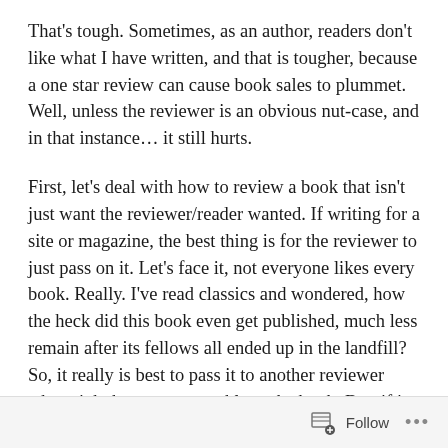That's tough. Sometimes, as an author, readers don't like what I have written, and that is tougher, because a one star review can cause book sales to plummet. Well, unless the reviewer is an obvious nut-case, and in that instance… it still hurts.
First, let's deal with how to review a book that isn't just want the reviewer/reader wanted. If writing for a site or magazine, the best thing is for the reviewer to just pass on it. Let's face it, not everyone likes every book. Really. I've read classics and wondered, how the heck did this book even get published, much less remain after its fellows all ended up in the landfill? So, it really is best to pass it to another reviewer who might be more amenable to the book. But, if it is absolutely necessary to review it, begin
Follow ···